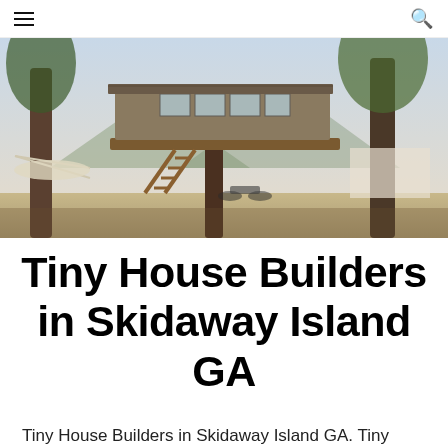≡  🔍
[Figure (photo): Exterior photo of a rustic treehouse-style tiny home elevated on wooden stilts among trees, with large glass windows and a wooden staircase, hammock visible on the left, sunny outdoor setting]
Tiny House Builders in Skidaway Island GA
Tiny House Builders in Skidaway Island GA. Tiny